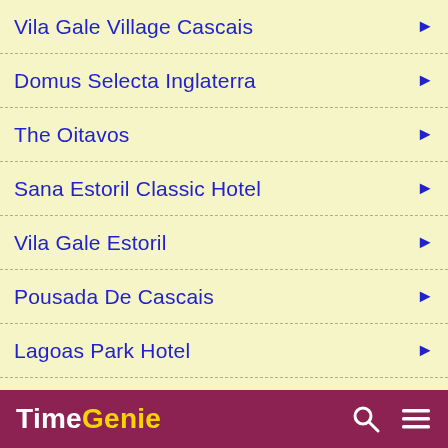Vila Gale Village Cascais
Domus Selecta Inglaterra
The Oitavos
Sana Estoril Classic Hotel
Vila Gale Estoril
Pousada De Cascais
Lagoas Park Hotel
Riviera
Solplay Hotel De Apartam…
TimeGenie